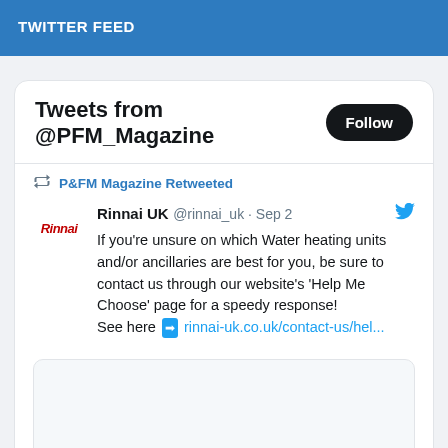TWITTER FEED
Tweets from @PFM_Magazine
P&FM Magazine Retweeted
Rinnai UK @rinnai_uk · Sep 2
If you're unsure on which Water heating units and/or ancillaries are best for you, be sure to contact us through our website's 'Help Me Choose' page for a speedy response!
See here ➡ rinnai-uk.co.uk/contact-us/hel...